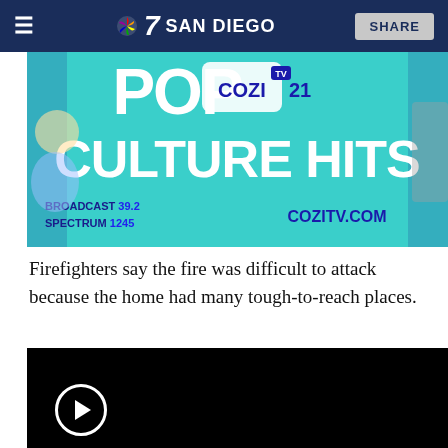7 NBC SAN DIEGO — SHARE
[Figure (illustration): COZI TV advertisement banner: 'POP COZI TV CULTURE HITS — BROADCAST 39.2 / SPECTRUM 1245 / COZITV.COM' on teal background with TV characters]
Firefighters say the fire was difficult to attack because the home had many tough-to-reach places.
[Figure (screenshot): Black video player with white circular play button]